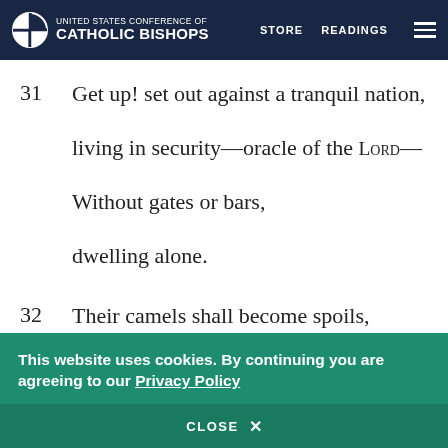United States Conference of Catholic Bishops | STORE  READINGS
31  Get up! set out against a tranquil nation,
living in security—oracle of the LORD—
Without gates or bars,
dwelling alone.
32  Their camels shall become spoils,
their hordes of cattle, plunder;
This website uses cookies. By continuing you are agreeing to our Privacy Policy
CLOSE  X